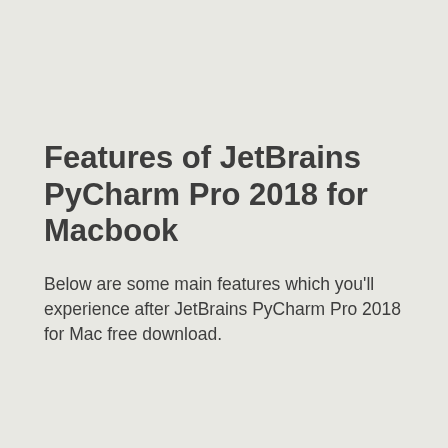Features of JetBrains PyCharm Pro 2018 for Macbook
Below are some main features which you'll experience after JetBrains PyCharm Pro 2018 for Mac free download.